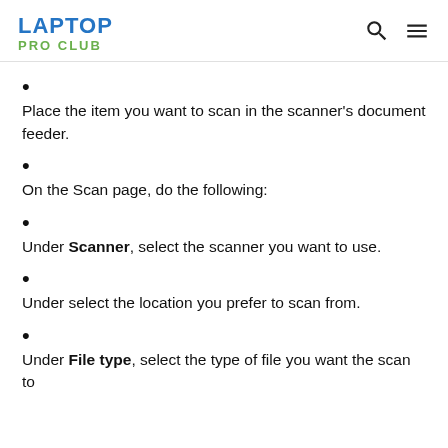LAPTOP PRO CLUB
Place the item you want to scan in the scanner's document feeder.
On the Scan page, do the following:
Under Scanner, select the scanner you want to use.
Under select the location you prefer to scan from.
Under File type, select the type of file you want the scan to